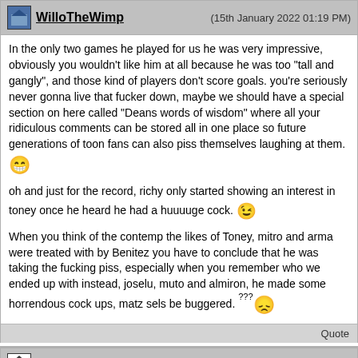WilloTheWimp (15th January 2022 01:19 PM)
In the only two games he played for us he was very impressive, obviously you wouldn't like him at all because he was too "tall and gangly", and those kind of players don't score goals. you're seriously never gonna live that fucker down, maybe we should have a special section on here called "Deans words of wisdom" where all your ridiculous comments can be stored all in one place so future generations of toon fans can also piss themselves laughing at them. 😄
oh and just for the record, richy only started showing an interest in toney once he heard he had a huuuuge cock. 😄
When you think of the contemp the likes of Toney, mitro and arma were treated with by Benitez you have to conclude that he was taking the fucking piss, especially when you remember who we ended up with instead, joselu, muto and almiron, he made some horrendous cock ups, matz sels be buggered. ???😞
Quote
Dean20m (15th January 2022 02:11 PM)